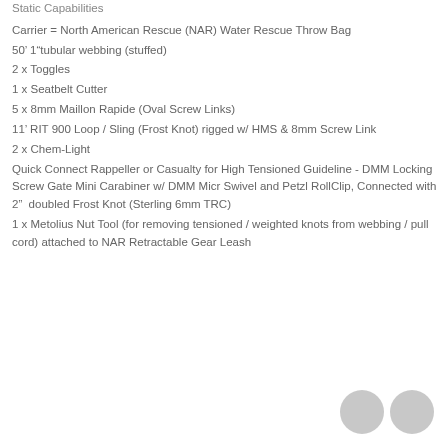Static Capabilities
Carrier = North American Rescue (NAR) Water Rescue Throw Bag
50' 1"tubular webbing (stuffed)
2 x Toggles
1 x Seatbelt Cutter
5 x 8mm Maillon Rapide (Oval Screw Links)
11' RIT 900 Loop / Sling (Frost Knot) rigged w/ HMS & 8mm Screw Link
2 x Chem-Light
Quick Connect Rappeller or Casualty for High Tensioned Guideline - DMM Locking Screw Gate Mini Carabiner w/ DMM Micr Swivel and Petzl RollClip, Connected with 2" doubled Frost Knot (Sterling 6mm TRC)
1 x Metolius Nut Tool (for removing tensioned / weighted knots from webbing / pull cord) attached to NAR Retractable Gear Leash